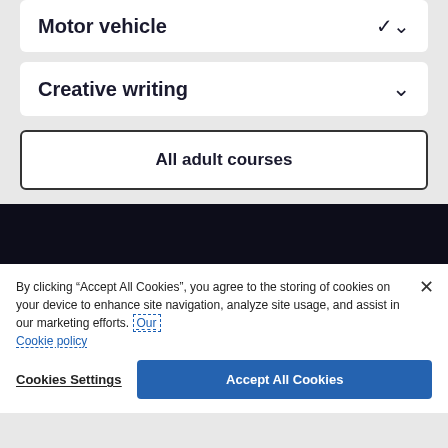Motor vehicle
Creative writing
All adult courses
By clicking “Accept All Cookies”, you agree to the storing of cookies on your device to enhance site navigation, analyze site usage, and assist in our marketing efforts. Our Cookie policy
Cookies Settings
Accept All Cookies